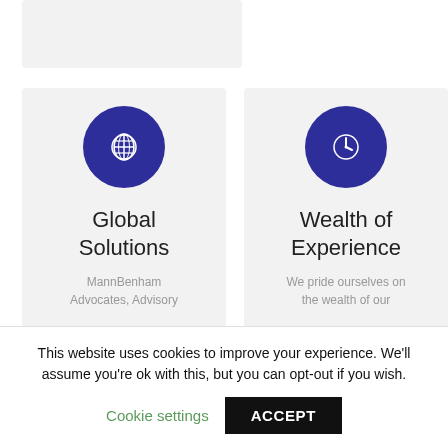[Figure (illustration): Partial gray card at top, cropped]
[Figure (infographic): Card with dark blue circular globe icon, title 'Global Solutions', subtext 'MannBenham Advocates, Advisory']
[Figure (infographic): Card with dark blue circular clock icon, title 'Wealth of Experience', subtext 'We pride ourselves on the wealth of our']
This website uses cookies to improve your experience. We'll assume you're ok with this, but you can opt-out if you wish.
Cookie settings
ACCEPT